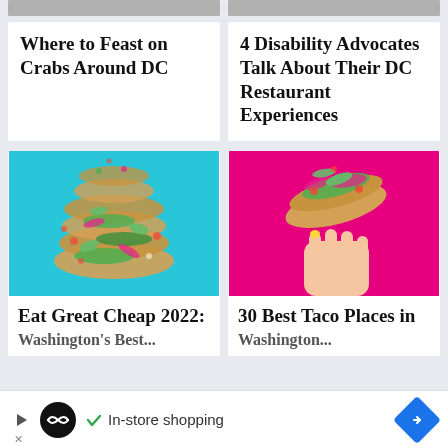[Figure (photo): Partial top strip image left — cropped photo]
[Figure (photo): Partial top strip image right — cropped photo]
Where to Feast on Crabs Around DC
4 Disability Advocates Talk About Their DC Restaurant Experiences
[Figure (photo): Stack of tacos with toppings on blue background]
Eat Great Cheap 2022: Washington's Best...
[Figure (photo): Hand holding taco with toppings on pink/magenta background]
30 Best Taco Places in Washington...
In-store shopping